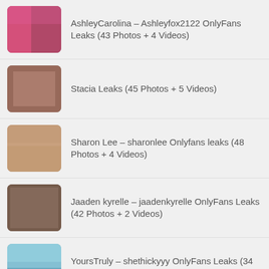AshleyCarolina – Ashleyfox2122 OnlyFans Leaks (43 Photos + 4 Videos)
Stacia Leaks (45 Photos + 5 Videos)
Sharon Lee – sharonlee Onlyfans leaks (48 Photos + 4 Videos)
Jaaden kyrelle – jaadenkyrelle OnlyFans Leaks (42 Photos + 2 Videos)
YoursTruly – shethickyyy OnlyFans Leaks (34 Photos + 4 Videos)